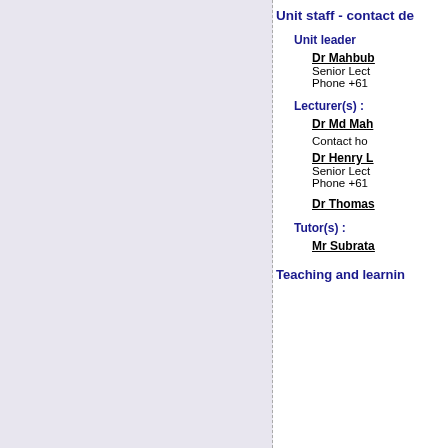Unit staff - contact de
Unit leader
Dr Mahbub
Senior Lect
Phone +61
Lecturer(s) :
Dr Md Mah
Contact ho
Dr Henry L
Senior Lect
Phone +61
Dr Thomas
Tutor(s) :
Mr Subrata
Teaching and learnin